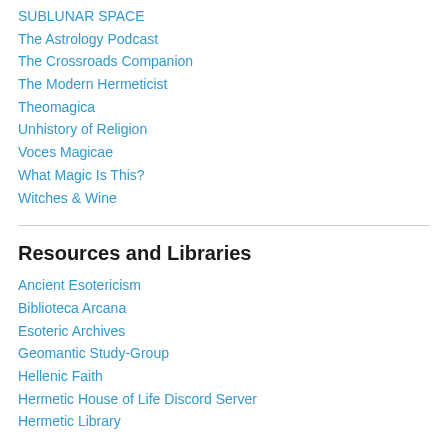SUBLUNAR SPACE
The Astrology Podcast
The Crossroads Companion
The Modern Hermeticist
Theomagica
Unhistory of Religion
Voces Magicae
What Magic Is This?
Witches & Wine
Resources and Libraries
Ancient Esotericism
Biblioteca Arcana
Esoteric Archives
Geomantic Study-Group
Hellenic Faith
Hermetic House of Life Discord Server
Hermetic Library